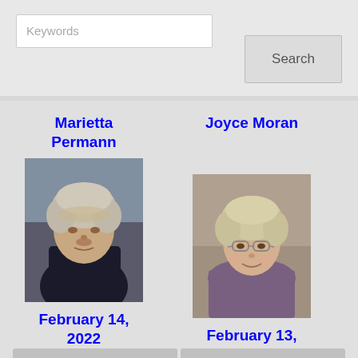Keywords
Search
Marietta Permann
[Figure (photo): Portrait photo of Marietta Permann, elderly woman with light curly hair, dark jacket]
February 14, 2022
Joyce Moran
[Figure (photo): Portrait photo of Joyce Moran, woman with light hair, glasses, smiling, floral top]
February 13, 2022